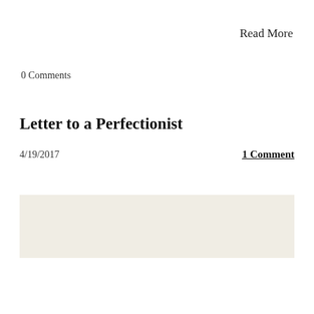Read More
0 Comments
Letter to a Perfectionist
4/19/2017
1 Comment
[Figure (other): Beige/cream colored rectangular image placeholder block]